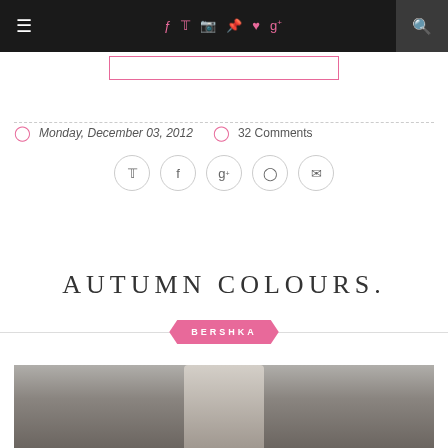Navigation bar with hamburger menu, social icons (f, Twitter, Instagram, Pinterest, heart, g+), and search button
[Figure (screenshot): Search input box with pink border]
Monday, December 03, 2012   32 Comments
[Figure (infographic): Social share buttons: Twitter, Facebook, Google+, Pinterest, Email circles]
AUTUMN COLOURS.
BERSHKA
[Figure (photo): Partial photo of a person wearing a light blue shirt and beige coat]